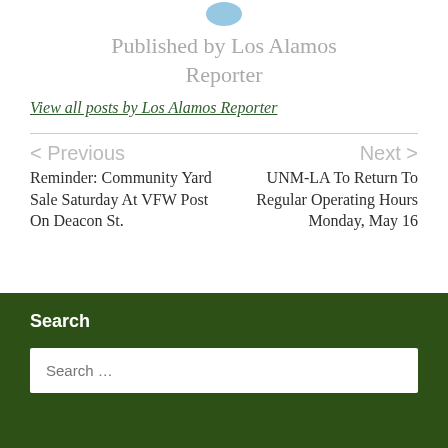Published by Los Alamos Reporter
View all posts by Los Alamos Reporter
< Previous
Reminder: Community Yard Sale Saturday At VFW Post On Deacon St.
Next >
UNM-LA To Return To Regular Operating Hours Monday, May 16
Search
Search ...